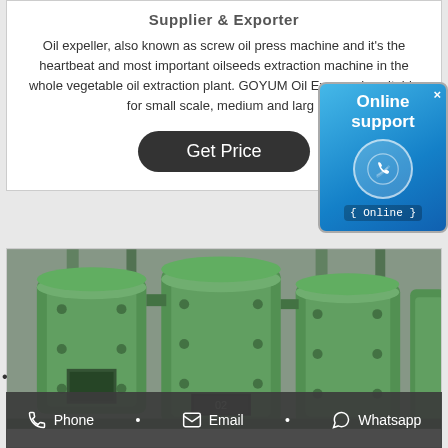Supplier & Exporter
Oil expeller, also known as screw oil press machine and it's the heartbeat and most important oilseeds extraction machine in the whole vegetable oil extraction plant. GOYUM Oil Expeller is suitable for small scale, medium and large
[Figure (screenshot): Online support popup with phone icon and Online badge]
[Figure (photo): Industrial green oil press machines in a factory setting]
Phone • Email • Whatsapp